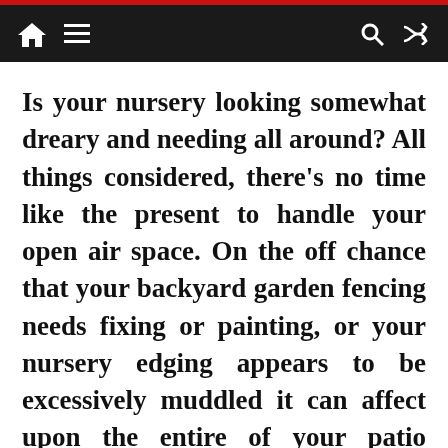Navigation bar with home, menu, search, and shuffle icons
Is your nursery looking somewhat dreary and needing all around? All things considered, there's no time like the present to handle your open air space. On the off chance that your backyard garden fencing needs fixing or painting, or your nursery edging appears to be excessively muddled it can affect upon the entire of your patio space. Breathing new life into your back nursery (or front nursery, besides) doesn't generally require a